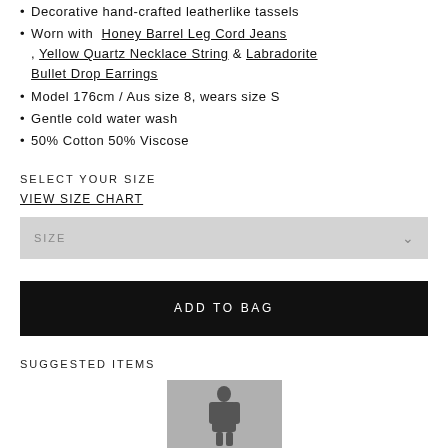Decorative hand-crafted leatherlike tassels
Worn with Honey Barrel Leg Cord Jeans, Yellow Quartz Necklace String & Labradorite Bullet Drop Earrings
Model 176cm / Aus size 8, wears size S
Gentle cold water wash
50% Cotton 50% Viscose
SELECT YOUR SIZE
VIEW SIZE CHART
SIZE
ADD TO BAG
SUGGESTED ITEMS
[Figure (photo): A model wearing a patterned top, cropped product thumbnail]